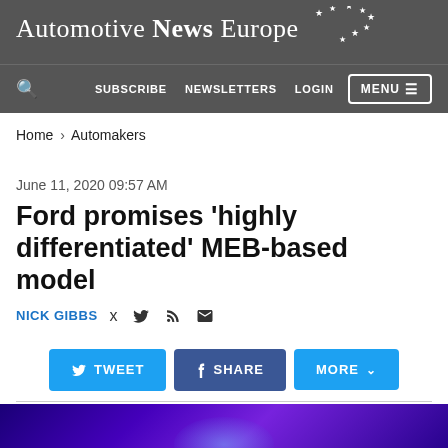Automotive News Europe
SUBSCRIBE  NEWSLETTERS  LOGIN  MENU
Home > Automakers
June 11, 2020 09:57 AM
Ford promises 'highly differentiated' MEB-based model
NICK GIBBS
[Figure (infographic): Social share buttons: TWEET, SHARE, MORE]
[Figure (photo): Purple/violet glowing background image, partially visible at bottom of page]